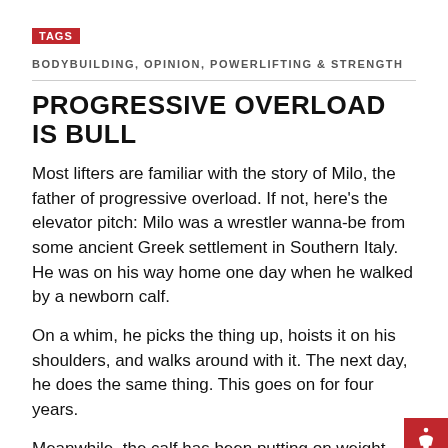TAGS
BODYBUILDING, OPINION, POWERLIFTING & STRENGTH
PROGRESSIVE OVERLOAD IS BULL
Most lifters are familiar with the story of Milo, the father of progressive overload. If not, here's the elevator pitch: Milo was a wrestler wanna-be from some ancient Greek settlement in Southern Italy. He was on his way home one day when he walked by a newborn calf.
On a whim, he picks the thing up, hoists it on his shoulders, and walks around with it. The next day, he does the same thing. This goes on for four years.
Meanwhile, the calf has been putting on weight – maybe a pound or so every day. Pretty soon, Milo is hoisting and carrying around a full-grown bull, and Mil